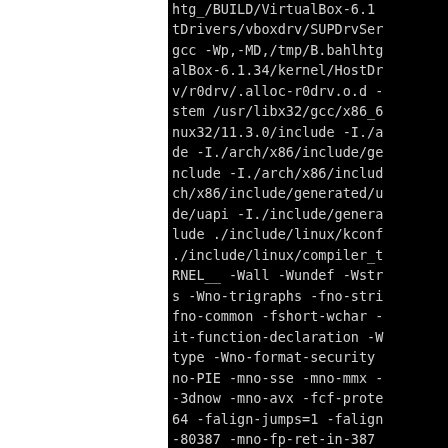[Figure (screenshot): Terminal/console output showing a gcc compiler command with various flags and include paths, rendered as white monospace text on black background. The left portion of the page is white (likely a sidebar or margin), and the right portion shows the clipped compiler command output.]